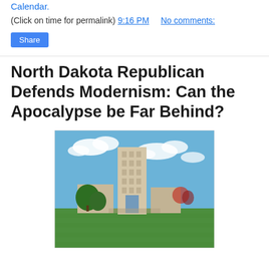Calendar.
(Click on time for permalink) 9:16 PM    No comments:
Share
North Dakota Republican Defends Modernism: Can the Apocalypse be Far Behind?
[Figure (photo): Photo of a modernist government building, likely the North Dakota State Capitol, with a tall tower and green lawn under a blue sky with white clouds.]